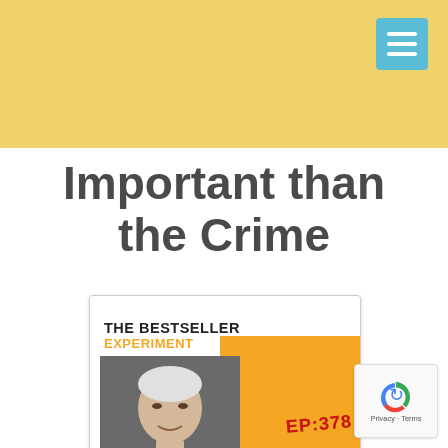[Figure (screenshot): Yellow/gold header bar with hamburger menu icon (three white lines on teal/blue square button) in the top right corner]
Important than the Crime
[Figure (illustration): Podcast cover art for 'The Bestseller Experiment' Episode 378 featuring Tim Sullivan. The card shows the show title in bold black uppercase text on white, an orange background section with EP:378 in red bold text, a black-and-white photo of Tim Sullivan (older white-haired man), and a teal blue banner at the bottom reading 'TIM SULLIVAN' and the quote 'CHARACTER IS MORE IMPORTANT THAN THE CRIME.']
[Figure (other): reCAPTCHA widget with rotating arrows icon and 'Privacy - Terms' text]